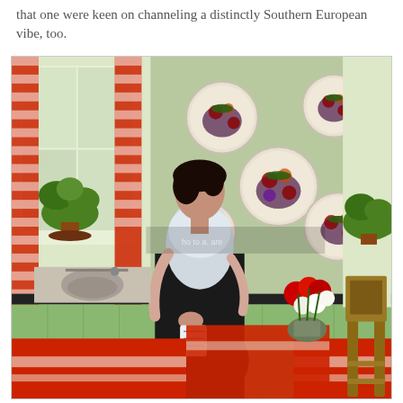that one were keen on channeling a distinctly Southern European vibe, too.
[Figure (photo): Vintage color photograph of a woman in a black skirt and white blouse standing in a kitchen with green tiles on the walls. Decorative plates with grape motifs hang on the wall. Red and white checked curtains frame a window with potted plants. Red fringed tablecloths cover tables. A bouquet of red and white flowers sits on a table. A wooden chair is visible on the right.]